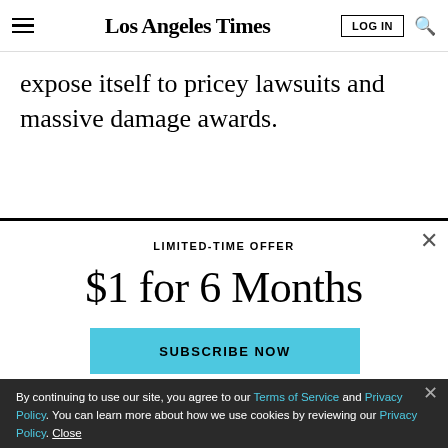Los Angeles Times
expose itself to pricey lawsuits and massive damage awards.
LIMITED-TIME OFFER
$1 for 6 Months
SUBSCRIBE NOW
By continuing to use our site, you agree to our Terms of Service and Privacy Policy. You can learn more about how we use cookies by reviewing our Privacy Policy. Close